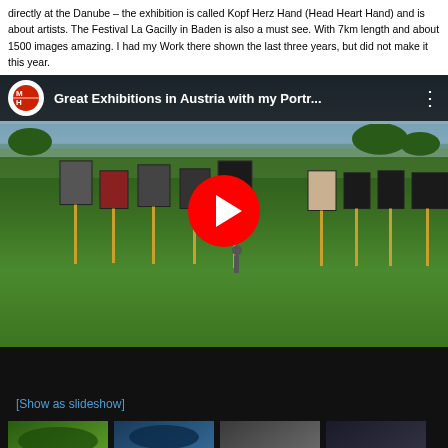directly at the Danube – the exhibition is called Kopf Herz Hand (Head Heart Hand) and is about artists. The Festival La Gacilly in Baden is also a must see. With 7km length and about 1500 images amazing. I had my Work there shown the last three years, but did not make it this year.
[Figure (screenshot): YouTube video embed showing 'Great Exhibitions in Austria with my Portr...' — outdoor photo exhibition on a grass field with portrait photographs mounted on yellow poles, with YouTube play button overlay]
[Show as slideshow]
[Figure (photo): Thumbnail image 1 - green landscape]
[Figure (photo): Thumbnail image 2 - blue/dark scene]
[Figure (photo): Thumbnail image 3 - gray/neutral]
[Figure (photo): Thumbnail image 4 - dark scene, partially visible]